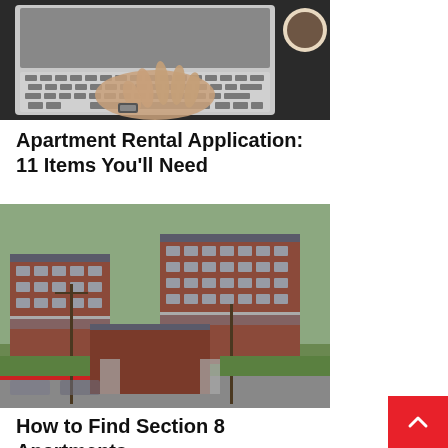[Figure (photo): Aerial/top-down view of a person's hand typing on a laptop keyboard, with a coffee cup visible in the upper right, on a dark desk surface]
Apartment Rental Application: 11 Items You'll Need
[Figure (photo): Aerial view of a Section 8 apartment complex with red brick buildings, balconies, parking areas, a street with a red curb, and green lawn areas]
How to Find Section 8 Apartments